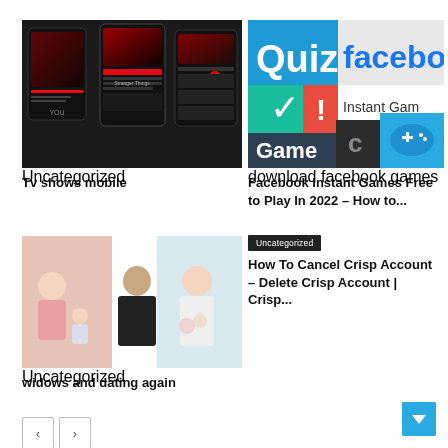[Figure (screenshot): Netflix-like mobile app screenshot showing TV shows interface on dark background with red accents]
Tv shows mobile
[Figure (screenshot): Facebook Instant Games promotional image with Quiz, facebook, Game, and controller icons on colorful background]
Facebook Instant Games Free to Play In 2022 – How to...
Uncategorized
How To Cancel Crisp Account – Delete Crisp Account | Crisp...
[Figure (photo): Three people posing: woman with baby on left, man in black shirt center, woman in white on right]
widows and dating again